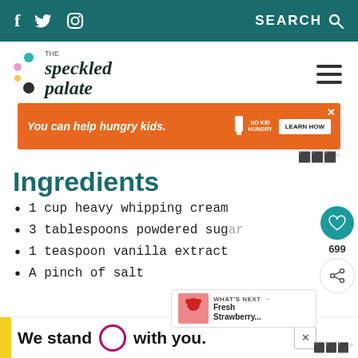f  Twitter  Instagram   SEARCH
[Figure (logo): The Speckled Palate logo with colorful dots]
[Figure (infographic): Orange advertisement banner: You can help hungry kids. NO KID HUNGRY. LEARN HOW]
Ingredients
1 cup heavy whipping cream
3 tablespoons powdered sugar
1 teaspoon vanilla extract
A pinch of salt
[Figure (infographic): Bottom banner ad: We stand (T-Mobile circle) with you.]